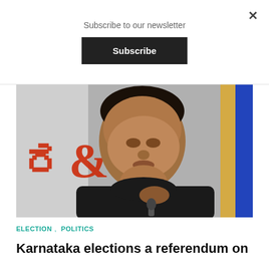Subscribe to our newsletter
Subscribe
×
[Figure (photo): Man in black shirt speaking into a microphone at an event, with banners in the background including red text and blue/purple elements]
ELECTION,  POLITICS
Karnataka elections a referendum on